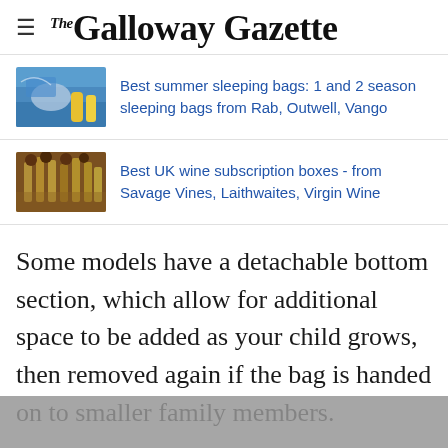The Galloway Gazette
Best summer sleeping bags: 1 and 2 season sleeping bags from Rab, Outwell, Vango
Best UK wine subscription boxes - from Savage Vines, Laithwaites, Virgin Wine
Some models have a detachable bottom section, which allow for additional space to be added as your child grows, then removed again if the bag is handed on to smaller family members.